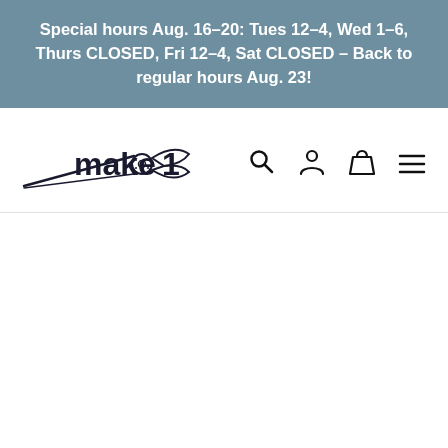Special hours Aug. 16-20: Tues 12-4, Wed 1-6, Thurs CLOSED, Fri 12-4, Sat CLOSED – Back to regular hours Aug. 23!
[Figure (logo): make1 logo with scissors graphic and navigation icons (search, account, cart, menu)]